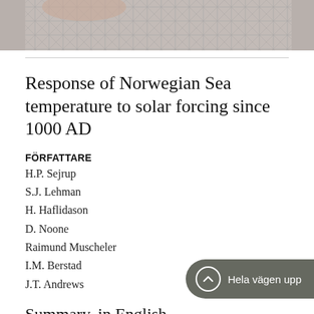[Figure (photo): Partial photo of a person wearing a plaid/checked shirt, cropped at the top of the page]
Response of Norwegian Sea temperature to solar forcing since 1000 AD
FÖRFATTARE
H.P. Sejrup
S.J. Lehman
H. Haflidason
D. Noone
Raimund Muscheler
I.M. Berstad
J.T. Andrews
Summary, in English